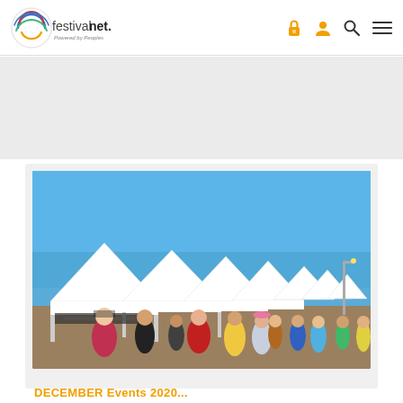[Figure (logo): FestivalNet logo — circular swirl icon in blue/red/orange/green, text 'festivalnet.' with tagline 'Powered by Peoples']
[Figure (photo): Outdoor festival/craft fair scene with rows of white canopy tents under blue sky, crowds of people walking and browsing vendor booths]
DECEMBER Events 2020...